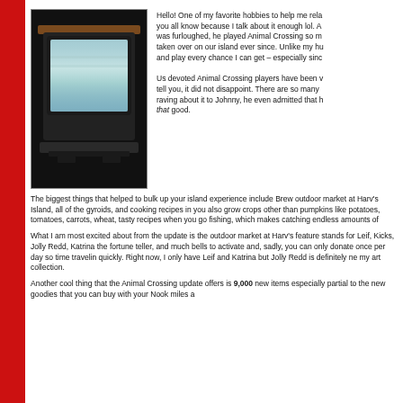[Figure (photo): Vintage CRT television set on a stand, dark background, retro style]
Hello! One of my favorite hobbies to help me relax — you all know because I talk about it enough lol. A was furloughed, he played Animal Crossing so m taken over on our island ever since. Unlike my hu and play every chance I can get – especially sinc
Us devoted Animal Crossing players have been v tell you, it did not disappoint. There are so many raving about it to Johnny, he even admitted that h that good.
The biggest things that helped to bulk up your island experience include Brew outdoor market at Harv's Island, all of the gyroids, and cooking recipes in you also grow crops other than pumpkins like potatoes, tomatoes, carrots, wheat, tasty recipes when you go fishing, which makes catching endless amounts of
What I am most excited about from the update is the outdoor market at Harv's feature stands for Leif, Kicks, Jolly Redd, Katrina the fortune teller, and much bells to activate and, sadly, you can only donate once per day so time travelin quickly. Right now, I only have Leif and Katrina but Jolly Redd is definitely ne my art collection.
Another cool thing that the Animal Crossing update offers is 9,000 new items especially partial to the new goodies that you can buy with your Nook miles a